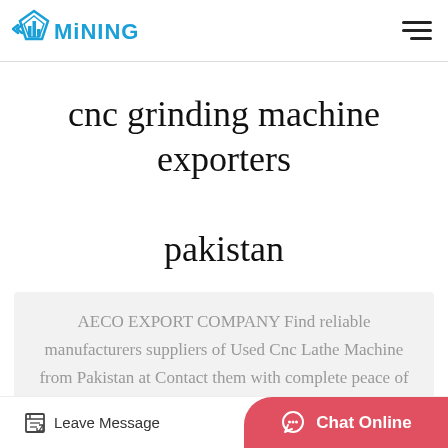[Figure (logo): MINING company logo with blue diamond/bar chart icon and MINING text in blue]
cnc grinding machine exporters pakistan
AECO EXPORT COMPANY Find reliable manufacturers suppliers of Used Cnc Lathe Machine from Pakistan at Contact them with complete peace of mind with our…
Relate Product
Leave Message
Chat Online